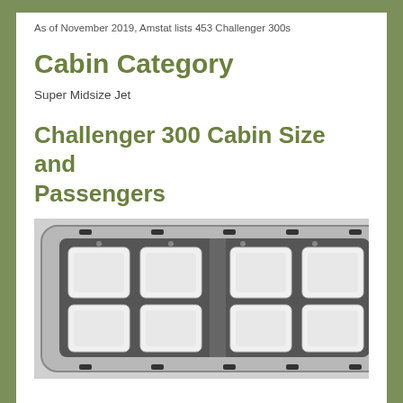As of November 2019, Amstat lists 453 Challenger 300s
Cabin Category
Super Midsize Jet
Challenger 300 Cabin Size and Passengers
[Figure (photo): Top-down floor plan view of a Challenger 300 aircraft cabin showing 8 white leather seats arranged in pairs on both sides of the aisle, with gray/brown paneling and overhead fixtures visible.]